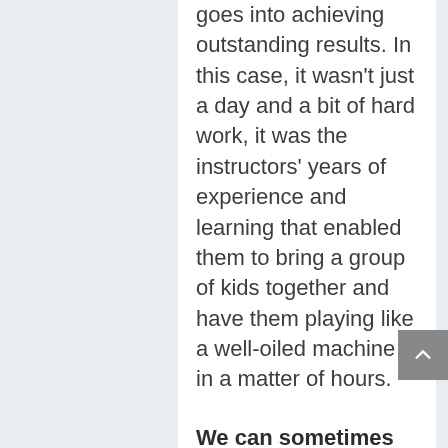goes into achieving outstanding results. In this case, it wasn't just a day and a bit of hard work, it was the instructors' years of experience and learning that enabled them to bring a group of kids together and have them playing like a well-oiled machine in a matter of hours.
We can sometimes underestimate our value when we can achieve something